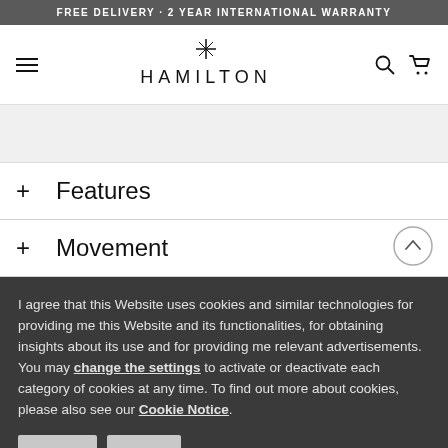FREE DELIVERY · 2 YEAR INTERNATIONAL WARRANTY
[Figure (logo): Hamilton Watch logo with star-H emblem and HAMILTON wordmark]
+ Features
+ Movement
I agree that this Website uses cookies and similar technologies for providing me this Website and its functionalities, for obtaining insights about its use and for providing me relevant advertisements. You may change the settings to activate or deactivate each category of cookies at any time. To find out more about cookies, please also see our Cookie Notice.